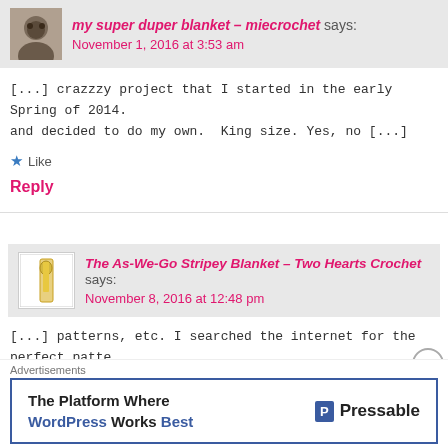my super duper blanket – miecrochet says:
November 1, 2016 at 3:53 am
[...] crazzzy project that I started in the early Spring of 2014. and decided to do my own.  King size. Yes, no [...]
Like
Reply
The As-We-Go Stripey Blanket – Two Hearts Crochet says:
November 8, 2016 at 12:48 pm
[...] patterns, etc. I searched the internet for the perfect patte We-Go Stripey Blanket from Not Your Average [...]
Advertisements
The Platform Where WordPress Works Best